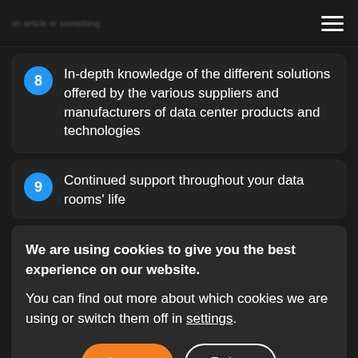8  In-depth knowledge of the different solutions offered by the various suppliers and manufacturers of data center products and technologies
9  Continued support throughout your data rooms' life
We are using cookies to give you the best experience on our website.
You can find out more about which cookies we are using or switch them off in settings.
Accept  Reject